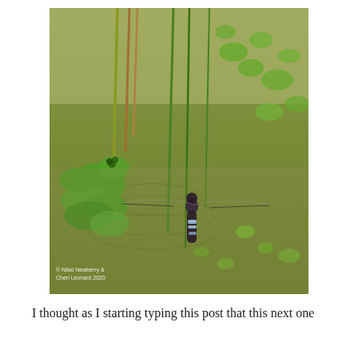[Figure (photo): A dragonfly hovering over a shallow green-hued pond or wetland, with aquatic plants including lily pads and emergent stems. The water surface reflects green vegetation. A copyright watermark reads '© Nikki Newberry & Cheri Leonard 2020' in the lower-left of the photo.]
I thought as I starting typing this post that this next one